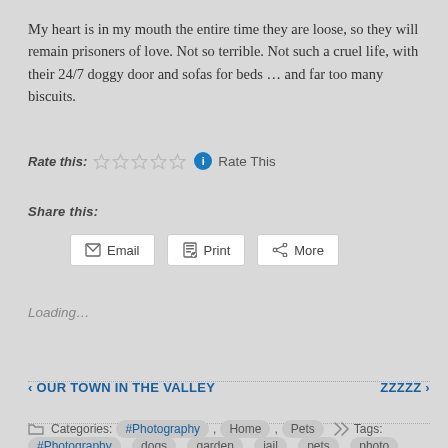My heart is in my mouth the entire time they are loose, so they will remain prisoners of love. Not so terrible. Not such a cruel life, with their 24/7 doggy door and sofas for beds … and far too many biscuits.
Rate this: ☆☆☆☆☆ ℹ Rate This
Share this:
Email  Print  More
Loading...
‹ OUR TOWN IN THE VALLEY    ZZZZZ ›
Categories: #Photography , Home , Pets   Tags: #Photography , dogs , garden , jail , pets , photo ,